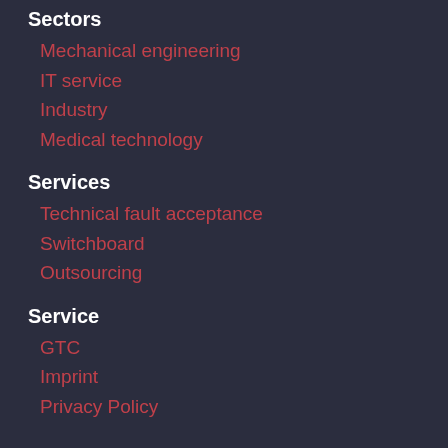Sectors
Mechanical engineering
IT service
Industry
Medical technology
Services
Technical fault acceptance
Switchboard
Outsourcing
Service
GTC
Imprint
Privacy Policy